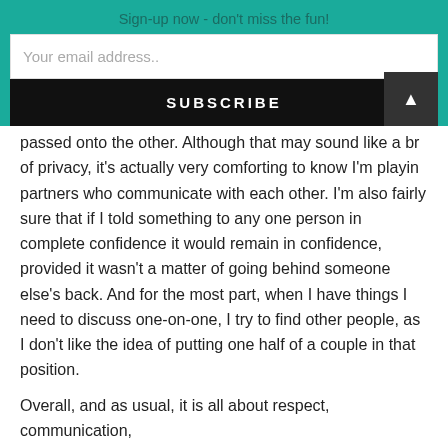Sign-up now - don't miss the fun!
passed onto the other. Although that may sound like a br of privacy, it's actually very comforting to know I'm playing partners who communicate with each other. I'm also fairly sure that if I told something to any one person in complete confidence it would remain in confidence, provided it wasn't a matter of going behind someone else's back. And for the most part, when I have things I need to discuss one-on-one, I try to find other people, as I don't like the idea of putting one half of a couple in that position.
Overall, and as usual, it is all about respect, communication,